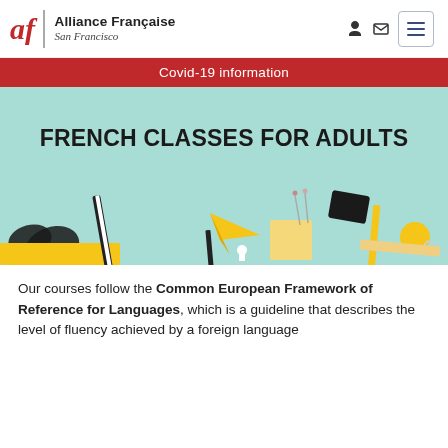[Figure (logo): Alliance Française San Francisco logo with stylized 'af' in red italic and organization name]
Covid-19 information
[Figure (photo): Hero banner image with teal/mint background showing school supplies including scissors, pencils, paper airplane, sticky note, and the text FRENCH CLASSES FOR ADULTS]
Our courses follow the Common European Framework of Reference for Languages, which is a guideline that describes the level of fluency achieved by a foreign language